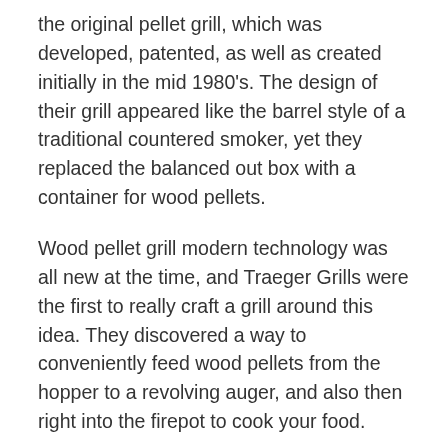the original pellet grill, which was developed, patented, as well as created initially in the mid 1980's. The design of their grill appeared like the barrel style of a traditional countered smoker, yet they replaced the balanced out box with a container for wood pellets.
Wood pellet grill modern technology was all new at the time, and Traeger Grills were the first to really craft a grill around this idea. They discovered a way to conveniently feed wood pellets from the hopper to a revolving auger, and also then right into the firepot to cook your food.
Wood pellets were a modern means to cook at the time. They allowed you to grill or smoke foods with wood-fired taste, without the headache of taking care of a fire. Reduce of use